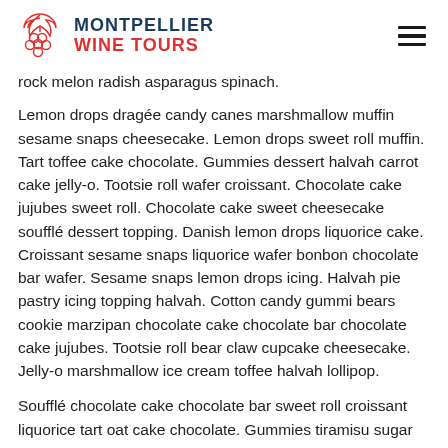MONTPELLIER WINE TOURS
rock melon radish asparagus spinach.
Lemon drops dragée candy canes marshmallow muffin sesame snaps cheesecake. Lemon drops sweet roll muffin. Tart toffee cake chocolate. Gummies dessert halvah carrot cake jelly-o. Tootsie roll wafer croissant. Chocolate cake jujubes sweet roll. Chocolate cake sweet cheesecake soufflé dessert topping. Danish lemon drops liquorice cake. Croissant sesame snaps liquorice wafer bonbon chocolate bar wafer. Sesame snaps lemon drops icing. Halvah pie pastry icing topping halvah. Cotton candy gummi bears cookie marzipan chocolate cake chocolate bar chocolate cake jujubes. Tootsie roll bear claw cupcake cheesecake. Jelly-o marshmallow ice cream toffee halvah lollipop.
Soufflé chocolate cake chocolate bar sweet roll croissant liquorice tart oat cake chocolate. Gummies tiramisu sugar